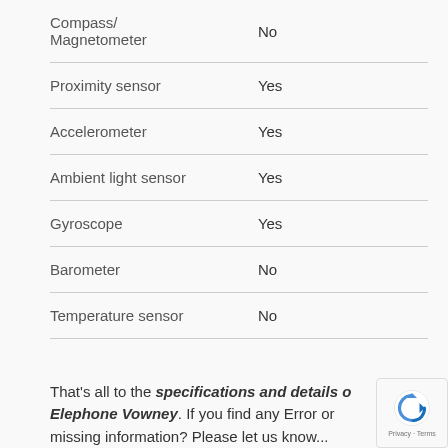| Feature | Value |
| --- | --- |
| Compass/ Magnetometer | No |
| Proximity sensor | Yes |
| Accelerometer | Yes |
| Ambient light sensor | Yes |
| Gyroscope | Yes |
| Barometer | No |
| Temperature sensor | No |
That's all to the specifications and details of Elephone Vowney. If you find any Error or missing information? Please let us know...